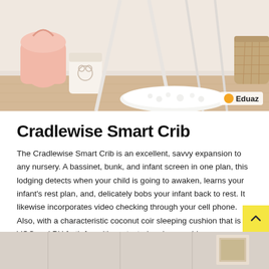[Figure (photo): Top image of a nursery room showing a white triangular crib/tent frame on a light wood floor, with a pink bag and a decorative container with a bear illustration on the left, a fluffy white rug in the center, and a woven basket on the right. Eduaz logo badge in bottom right corner.]
Cradlewise Smart Crib
The Cradlewise Smart Crib is an excellent, savvy expansion to any nursery. A bassinet, bunk, and infant screen in one plan, this lodging detects when your child is going to awaken, learns your infant's rest plan, and, delicately bobs your infant back to rest. It likewise incorporates video checking through your cell phone. Also, with a characteristic coconut coir sleeping cushion that is VOC and PU froth free, it's protected and agreeable.
[Figure (photo): Bottom partial image showing a light-colored nursery interior with paneled walls and what appears to be framed artwork on the right side.]